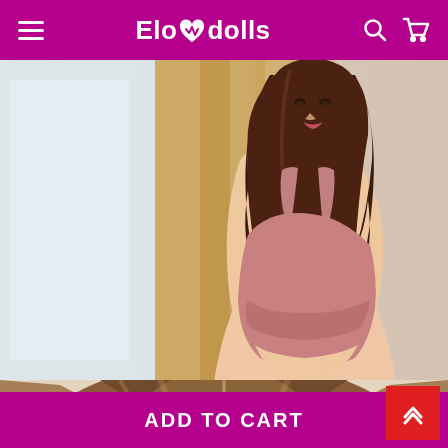Elovedolls — navigation header with hamburger menu, logo, search and cart icons
[Figure (photo): A realistic female doll with long dark wavy hair, wearing a mauve/rose pink crop top, posed standing sideways in front of golden curtains and a bright window. Photographed from a mid-range angle showing head to waist.]
[Figure (photo): Close-up top-down view of the doll's head showing brown hair parting, partially cropped.]
ADD TO CART